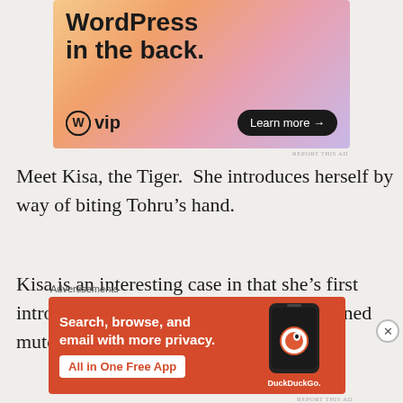[Figure (illustration): WordPress VIP advertisement with colorful gradient background showing 'WordPress in the back.' text and 'W vip' logo with 'Learn more →' button]
Meet Kisa, the Tiger.  She introduces herself by way of biting Tohru's hand.
Kisa is an interesting case in that she's first introduced at her lowest point, having turned mute
[Figure (illustration): DuckDuckGo advertisement on orange background: 'Search, browse, and email with more privacy. All in One Free App' with phone mockup and DuckDuckGo logo]